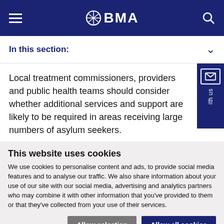BMA navigation bar with logo
In this section:
Local treatment commissioners, providers and public health teams should consider whether additional services and support are likely to be required in areas receiving large numbers of asylum seekers.
This website uses cookies
We use cookies to personalise content and ads, to provide social media features and to analyse our traffic. We also share information about your use of our site with our social media, advertising and analytics partners who may combine it with other information that you've provided to them or that they've collected from your use of their services.
Allow selection | Allow all cookies
Necessary | Preferences | Statistics | Marketing | Show details | Feedback